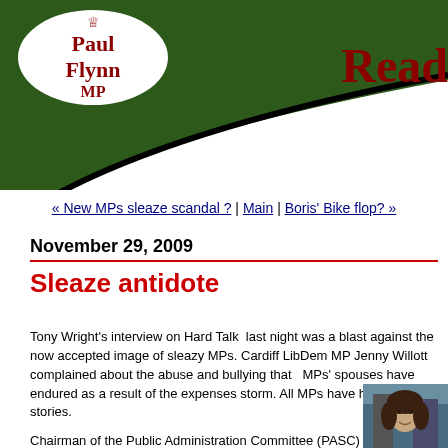[Figure (logo): Paul Flynn MP logo with crown icon in white oval on dark green header background, with 'Read' text in red on right]
« New MPs sleaze scandal ? | Main | Boris' Bike flop? »
November 29, 2009
Sleaze antidote
Tony Wright's interview on Hard Talk  last night was a blast against the now accepted image of sleazy MPs. Cardiff LibDem MP Jenny Willott  complained about the abuse and bullying that   MPs' spouses have endured as a result of the expenses storm. All MPs have heard similar stories.
Chairman of the Public Administration Committee (PASC)